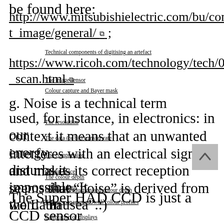be found here:
http://www.mitsubishielectric.com/bu/contact_image/general/ ;
https://www.ricoh.com/technology/tech/028_scan.html
Technical components of digitising an artefact
The image sensor
Colour capture and Bayer mask
The resolution
The data (or bit) transfer rate
The compression
Colour space
Colour gamut
Colour management with colour profiles
Calibration of displays
The colour depth
Colour reproduction and colour depth
g. Noise is a technical term used, for instance, in electronics: in our context it means that an unwanted energy interferes with an electrical signal, disturbs it and makes its correct reception impossible. It seems that "noise" is derived from the Latin word "nausea".:)
The Super HAD CCD is just a CCD sensor